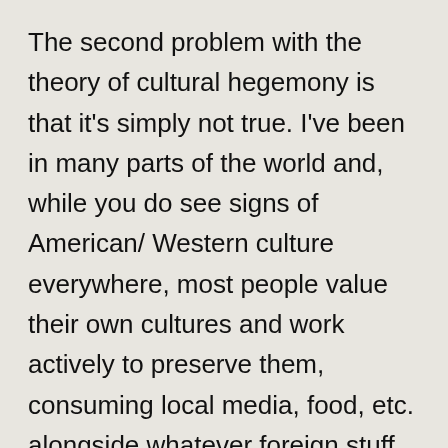The second problem with the theory of cultural hegemony is that it's simply not true. I've been in many parts of the world and, while you do see signs of American/ Western culture everywhere, most people value their own cultures and work actively to preserve them, consuming local media, food, etc. alongside whatever foreign stuff they like.
India is a great example of a society which needs no special measures to preserve its traditional culture – unlike, say, France (said she mischievously). Indians love TV, and have